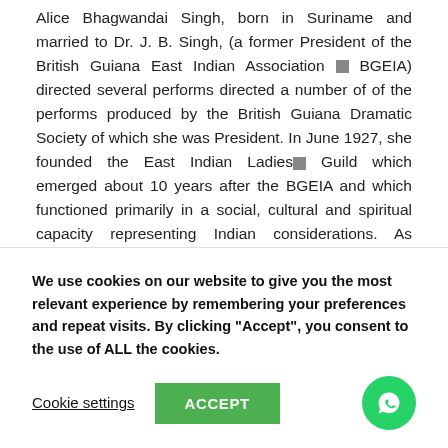Alice Bhagwandai Singh, born in Suriname and married to Dr. J. B. Singh, (a former President of the British Guiana East Indian Association ▪ BGEIA) directed several performs directed a number of of the performs produced by the British Guiana Dramatic Society of which she was President. In June 1927, she founded the East Indian Ladies▪ Guild which emerged about 10 years after the BGEIA and which functioned primarily in a social, cultural and spiritual capacity representing Indian considerations. As President of the Girls▪ Guild, she and other girls organized and promoted cultural occasions. In April 1929, they produced the play 'Savitri' based taken from the Hindu epic the Mahabharata. Her husband, Dr. J.B. Singh played Satyavan and Miss I. Beharry Lall performed Savitri.
We use cookies on our website to give you the most relevant experience by remembering your preferences and repeat visits. By clicking "Accept", you consent to the use of ALL the cookies.
Cookie settings | ACCEPT